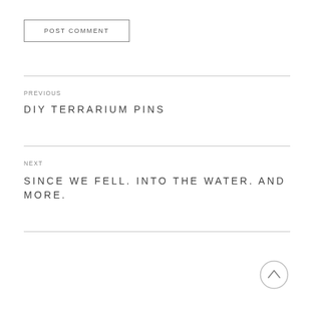POST COMMENT
PREVIOUS
DIY TERRARIUM PINS
NEXT
SINCE WE FELL. INTO THE WATER. AND MORE.